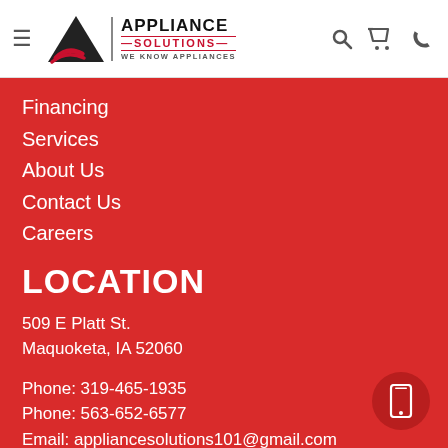[Figure (logo): Appliance Solutions logo with mountain/triangle graphic and tagline WE KNOW APPLIANCES]
Financing
Services
About Us
Contact Us
Careers
LOCATION
509 E Platt St.
Maquoketa, IA 52060
Phone: 319-465-1935
Phone: 563-652-6577
Email: appliancesolutions101@gmail.com